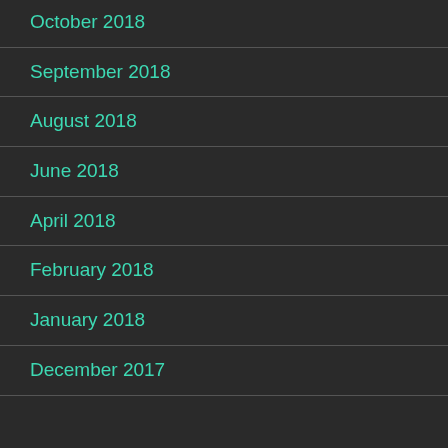October 2018
September 2018
August 2018
June 2018
April 2018
February 2018
January 2018
December 2017